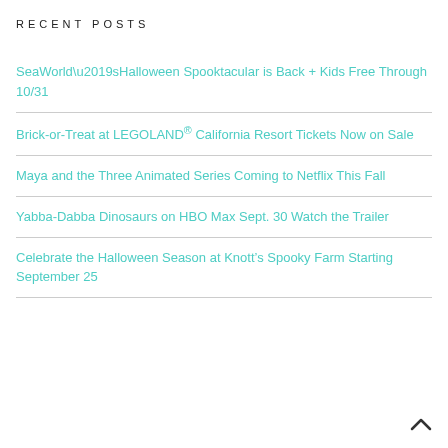RECENT POSTS
SeaWorld’sHalloween Spooktacular is Back + Kids Free Through 10/31
Brick-or-Treat at LEGOLAND® California Resort Tickets Now on Sale
Maya and the Three Animated Series Coming to Netflix This Fall
Yabba-Dabba Dinosaurs on HBO Max Sept. 30 Watch the Trailer
Celebrate the Halloween Season at Knott’s Spooky Farm Starting September 25